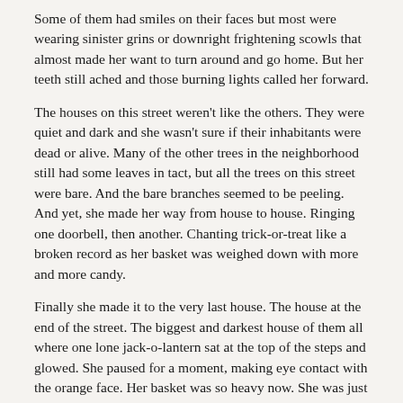Some of them had smiles on their faces but most were wearing sinister grins or downright frightening scowls that almost made her want to turn around and go home. But her teeth still ached and those burning lights called her forward.
The houses on this street weren't like the others. They were quiet and dark and she wasn't sure if their inhabitants were dead or alive. Many of the other trees in the neighborhood still had some leaves in tact, but all the trees on this street were bare. And the bare branches seemed to be peeling. And yet, she made her way from house to house. Ringing one doorbell, then another. Chanting trick-or-treat like a broken record as her basket was weighed down with more and more candy.
Finally she made it to the very last house. The house at the end of the street. The biggest and darkest house of them all where one lone jack-o-lantern sat at the top of the steps and glowed. She paused for a moment, making eye contact with the orange face. Her basket was so heavy now. She was just about to set it down when she heard someone speak.
“Oh, you don’t want to do that.”
“I don’t?”